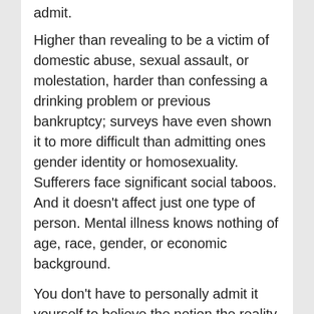admit.
Higher than revealing to be a victim of domestic abuse, sexual assault, or molestation, harder than confessing a drinking problem or previous bankruptcy; surveys have even shown it to more difficult than admitting ones gender identity or homosexuality. Sufferers face significant social taboos. And it doesn't affect just one type of person. Mental illness knows nothing of age, race, gender, or economic background.
You don't have to personally admit it yourself to believe the notion the reality that people are more likely to break off, or not even start, a relationship with someone with mental issues -which I for one find particularly interesting because members of society are more likely to stay with someone with a physical disability. People with mental disorders tend to prefer to hide their illness like major depression and anxiety, because unlike people with physical illnesses, people with mental disorders must also fear being rejected by family & friends, harassed, fired or not hired, or denied child custody - just for starters.